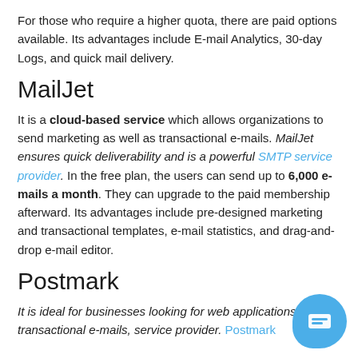For those who require a higher quota, there are paid options available. Its advantages include E-mail Analytics, 30-day Logs, and quick mail delivery.
MailJet
It is a cloud-based service which allows organizations to send marketing as well as transactional e-mails. MailJet ensures quick deliverability and is a powerful SMTP service provider. In the free plan, the users can send up to 6,000 e-mails a month. They can upgrade to the paid membership afterward. Its advantages include pre-designed marketing and transactional templates, e-mail statistics, and drag-and-drop e-mail editor.
Postmark
It is ideal for businesses looking for web applications based transactional e-mails, service provider. Postmark